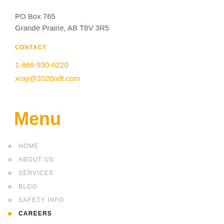PO Box 765
Grande Prairie, AB T8V 3R5
CONTACT
1-866-930-6220
xray@2020ndt.com
Menu
HOME
ABOUT US
SERVICES
BLOG
SAFETY INFO
CAREERS
CONTACT US